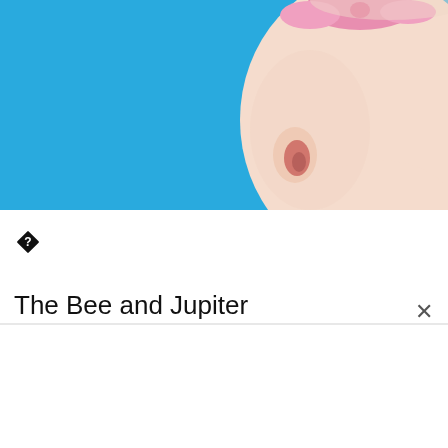[Figure (photo): Close-up photo of a baby's head from behind/side on a bright blue background, with a small pink bow/headband on top. The baby's ear is visible on the right side.]
[Figure (other): Small black diamond/question mark icon]
The Bee and Jupiter